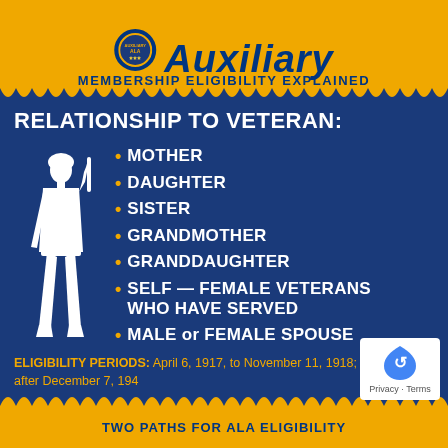Auxiliary
MEMBERSHIP ELIGIBILITY EXPLAINED
RELATIONSHIP TO VETERAN:
[Figure (illustration): White silhouette of a female soldier standing at attention holding a rifle]
MOTHER
DAUGHTER
SISTER
GRANDMOTHER
GRANDDAUGHTER
SELF — FEMALE VETERANS WHO HAVE SERVED
MALE or FEMALE SPOUSE
ELIGIBILITY PERIODS: April 6, 1917, to November 11, 1918; and any time after December 7, 1941
TWO PATHS FOR ALA ELIGIBILITY